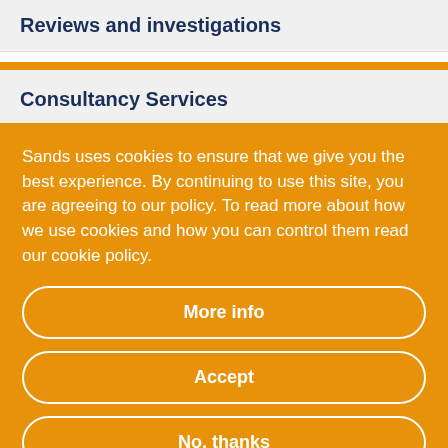Reviews and investigations
Consultancy Services
Sands uses cookies to ensure that we give you the best experience. By continuing to use this site, you are agreeing to our policy. To read more about how we use cookies and how you can control them read our cookie policy.
More info
Accept
No, thanks